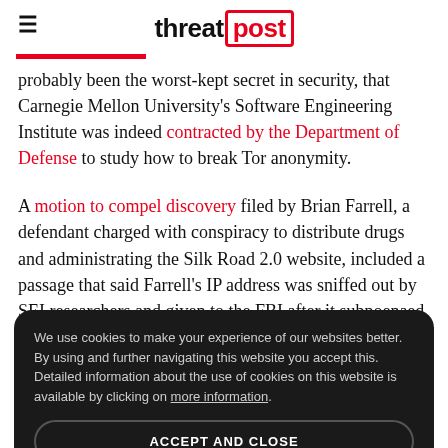threatpost
probably been the worst-kept secret in security, that Carnegie Mellon University's Software Engineering Institute was indeed contracted by the Department of Defense to study how to break Tor anonymity.
A motion to compel discovery filed by Brian Farrell, a defendant charged with conspiracy to distribute drugs and administrating the Silk Road 2.0 website, included a passage that said Farrell's IP address was sniffed out by SEI researchers and given to the FBI after it subpoenaed
We use cookies to make your experience of our websites better. By using and further navigating this website you accept this. Detailed information about the use of cookies on this website is available by clicking on more information.
ACCEPT AND CLOSE
is clear to the cou